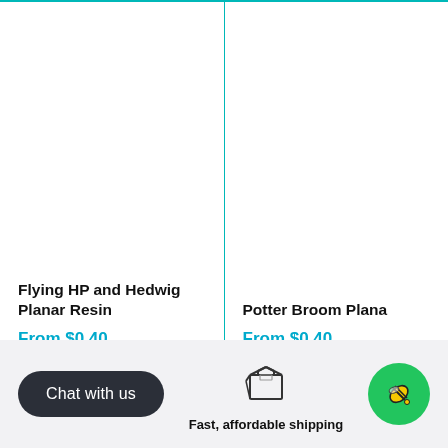Flying HP and Hedwig Planar Resin
From $0.40
In stock, 15 units
Potter Broom Plana…
From $0.40
In stock, 24 units
Chat with us
[Figure (illustration): Box/package icon representing shipping]
Fast, affordable shipping
[Figure (logo): Green circle with bee/pencil icon]